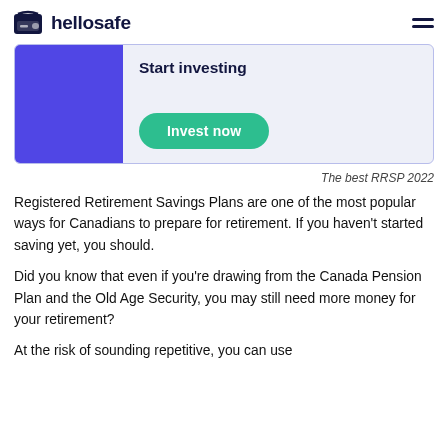hellosafe
[Figure (infographic): Start investing banner with purple square on left, 'Start investing' text and 'Invest now' green button on right, on light blue-grey background]
The best RRSP 2022
Registered Retirement Savings Plans are one of the most popular ways for Canadians to prepare for retirement. If you haven't started saving yet, you should.
Did you know that even if you're drawing from the Canada Pension Plan and the Old Age Security, you may still need more money for your retirement?